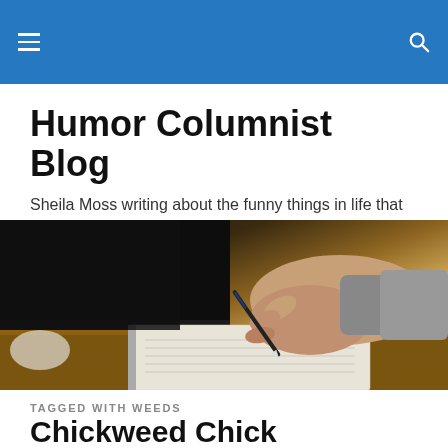Humor Columnist Blog — navigation bar
Humor Columnist Blog
Sheila Moss writing about the funny things in life that happen to everyone
[Figure (photo): A hand holding a pen writing in a notebook on a wooden table, dark background on the left side]
TAGGED WITH WEEDS
Chickweed Chick
The weather has finally warmed up and thanks to several